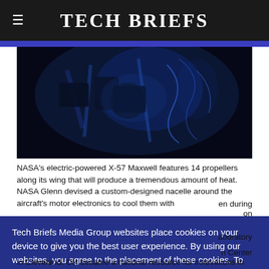Tech Briefs
[Figure (photo): Dark blue-lit image of NASA X-57 Maxwell electric aircraft motor and propeller components]
NASA's electric-powered X-57 Maxwell features 14 propellers along its wing that will produce a tremendous amount of heat. NASA Glenn devised a custom-designed nacelle around the aircraft's motor electronics to cool them with...en during ...on
...aboratory
n Center
in Cleveland, OH became a national resource for innovations in
Tech Briefs Media Group websites place cookies on your device to give you the best user experience. By using our websites, you agree to the placement of these cookies. To learn more, read our Privacy Policy.
Accept & Continue